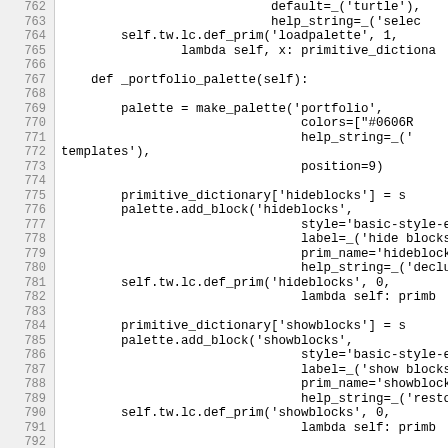[Figure (screenshot): Source code listing in Python, lines 762-792, showing methods _portfolio_palette with palette creation, add_block calls for hideblocks and showblocks, and def_prim calls.]